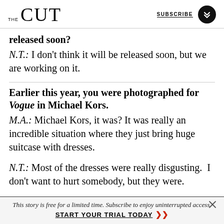THE CUT | SUBSCRIBE
released soon?
N.T.: I don't think it will be released soon, but we are working on it.
Earlier this year, you were photographed for Vogue in Michael Kors.
M.A.: Michael Kors, it was? It was really an incredible situation where they just bring huge suitcase with dresses.
N.T.: Most of the dresses were really disgusting. I don't want to hurt somebody, but they were.
This story is free for a limited time. Subscribe to enjoy uninterrupted access. START YOUR TRIAL TODAY